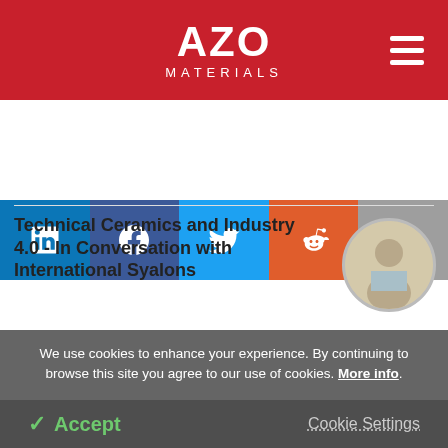AZO MATERIALS
[Figure (infographic): Social sharing buttons: LinkedIn, Facebook, Twitter, Reddit, Email]
Technical Ceramics and Industry 4.0 - In Conversation with International Syalons
Ben Melrose
[Figure (photo): Circular headshot of Ben Melrose]
Changing How We Think About
[Figure (photo): Circular headshot partial]
We use cookies to enhance your experience. By continuing to browse this site you agree to our use of cookies. More info.
Accept   Cookie Settings